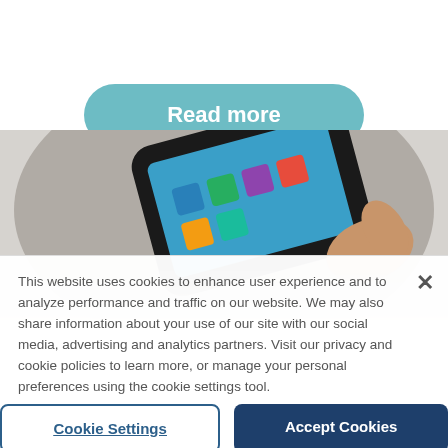[Figure (other): Teal/aqua rounded pill-shaped button labeled 'Read more' in white bold text, centered near top of page]
[Figure (photo): Photo of a hand holding a smartphone displaying a blue screen with app icons, on a gray surface, partially cropped]
This website uses cookies to enhance user experience and to analyze performance and traffic on our website. We may also share information about your use of our site with our social media, advertising and analytics partners. Visit our privacy and cookie policies to learn more, or manage your personal preferences using the cookie settings tool.
[Figure (other): Cookie Settings button (outlined, blue text, underlined) and Accept Cookies button (dark navy fill, white text)]